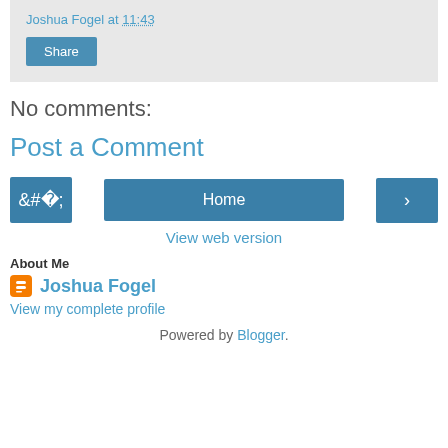Joshua Fogel at 11:43
Share
No comments:
Post a Comment
‹  Home  ›
View web version
About Me
Joshua Fogel
View my complete profile
Powered by Blogger.